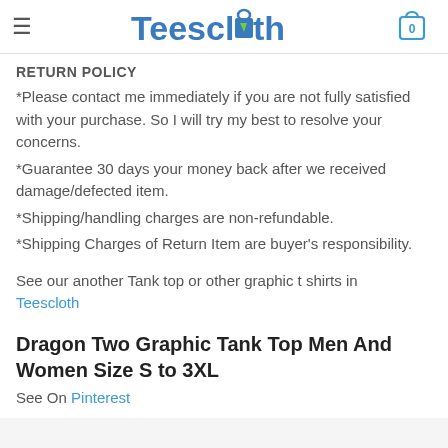Teescloth
RETURN POLICY
*Please contact me immediately if you are not fully satisfied with your purchase. So I will try my best to resolve your concerns.
*Guarantee 30 days your money back after we received damage/defected item.
*Shipping/handling charges are non-refundable.
*Shipping Charges of Return Item are buyer's responsibility.
See our another Tank top or other graphic t shirts in Teescloth
Dragon Two Graphic Tank Top Men And Women Size S to 3XL
See On Pinterest